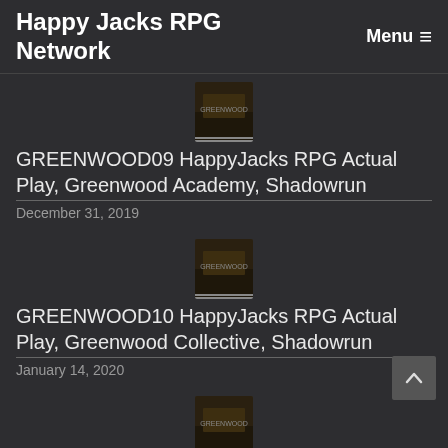Happy Jacks RPG Network  Menu ☰
[Figure (illustration): Thumbnail image for GREENWOOD09 podcast episode]
GREENWOOD09 HappyJacks RPG Actual Play, Greenwood Academy, Shadowrun
December 31, 2019
[Figure (illustration): Thumbnail image for GREENWOOD10 podcast episode]
GREENWOOD10 HappyJacks RPG Actual Play, Greenwood Collective, Shadowrun
January 14, 2020
[Figure (illustration): Thumbnail image for GREENWOOD11 podcast episode]
GREENWOOD11 HappyJacks RPG Actual Play, Greenwood Collective, Shadowrun
February 2, 2020
[Figure (illustration): Partial thumbnail image at bottom of page]